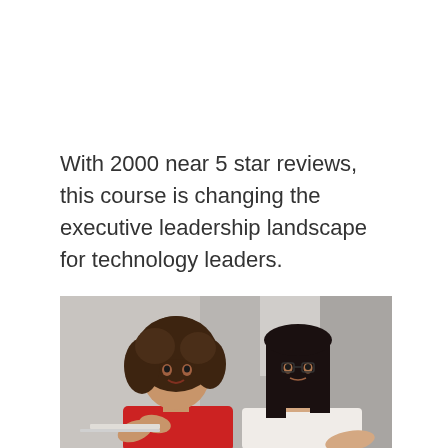With 2000 near 5 star reviews, this course is changing the executive leadership landscape for technology leaders.
[Figure (photo): Two women in a professional setting having a conversation near a laptop. One woman has curly hair and is wearing a red sweater, gesturing with her hands. The other woman has dark straight hair and is wearing a white blouse.]